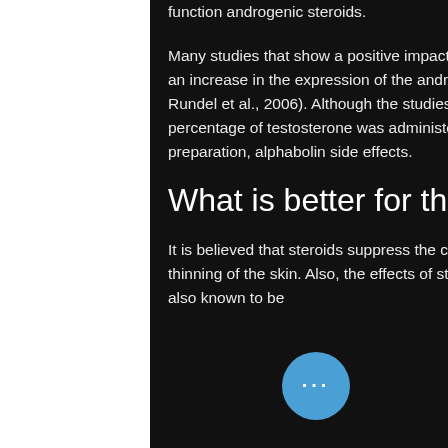function androgenic steroids.
Many studies that show a positive impact of oral testosterone supplementation has demonstrated in an increase in the expression of the androgen receptor in the serum (Müller and Häschert, 2003; Rundel et al., 2006). Although the studies conducted in this area are small, it seems that a high percentage of testosterone was administered as a tablet once a week without the use of an injectable preparation, alphabolin side effects.
What is better for thinning hair biotin or collagen
It is believed that steroids suppress the cell growth and inhibit collagen production, which leads to the thinning of the skin. Also, the effects of steroids are more visible in women than men. Steroids are also known to be
[Figure (illustration): Dark sci-fi robotic/armored figure on right side of page with dark spherical objects at top right]